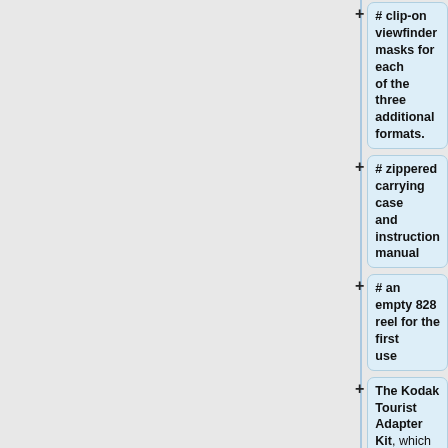# clip-on viewfinder masks for each of the three additional formats.
# zippered carrying case and instruction manual
# an empty 828 reel for the first use
The Kodak Tourist Adapter Kit, which originally sold for $14.50, is compatible with all Tourist and